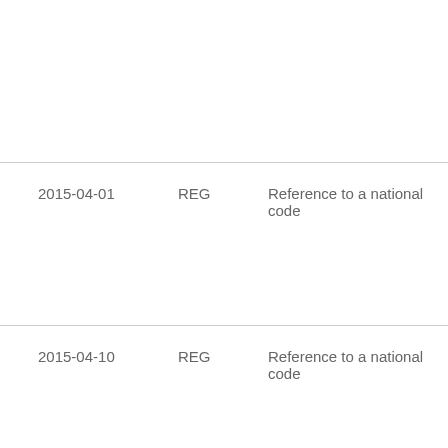|  |  |  |
| 2015-04-01 | REG | Reference to a national code |
| 2015-04-10 | REG | Reference to a national code |